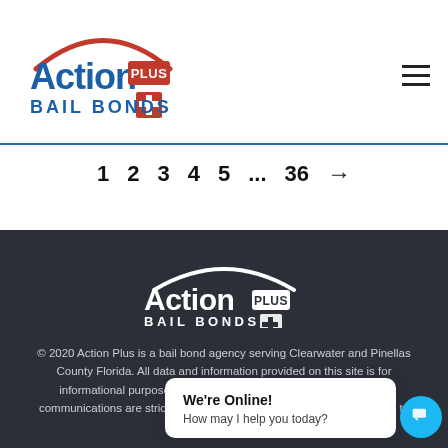[Figure (logo): Action Plus Bail Bonds logo — blue 'Action' text with red 'PLUS' badge and red cross icon, 'BAIL BONDS' in blue below, with an arc above]
1  2  3  4  5  ...  36  →
[Figure (logo): Action Plus Bail Bonds white logo on dark background]
© 2020 Action Plus is a bail bond agency serving Clearwater and Pinellas County Florida. All data and information provided on this site is for informational purposes only. All products, services, materials and communications are strictly educational in nature and are not intended to p… al p…
We're Online!
How may I help you today?